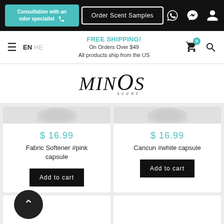Consultation with an odor specialist | Order Scent Samples
FREE SHIPPING! On Orders Over $49 All products ship from the US
[Figure (logo): MINOS scent brand logo in italic serif font]
$ 16.99
Fabric Softener #pink capsule
Add to cart
$ 16.99
Cancun #white capsule
Add to cart